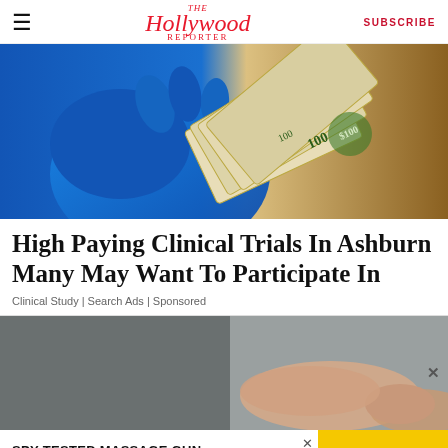The Hollywood Reporter | SUBSCRIBE
[Figure (photo): A gloved blue hand holding a fan of US $100 bills]
High Paying Clinical Trials In Ashburn Many May Want To Participate In
Clinical Study | Search Ads | Sponsored
[Figure (photo): Person scratching arm, seated on gray surface]
[Figure (advertisement): SPY-TESTED MASSAGE GUN NOW JUST $79 advertisement banner]